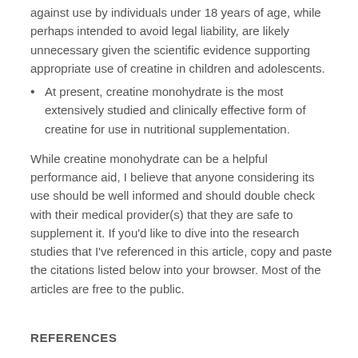against use by individuals under 18 years of age, while perhaps intended to avoid legal liability, are likely unnecessary given the scientific evidence supporting appropriate use of creatine in children and adolescents.
At present, creatine monohydrate is the most extensively studied and clinically effective form of creatine for use in nutritional supplementation.
While creatine monohydrate can be a helpful performance aid, I believe that anyone considering its use should be well informed and should double check with their medical provider(s) that they are safe to supplement it. If you'd like to dive into the research studies that I've referenced in this article, copy and paste the citations listed below into your browser. Most of the articles are free to the public.
REFERENCES